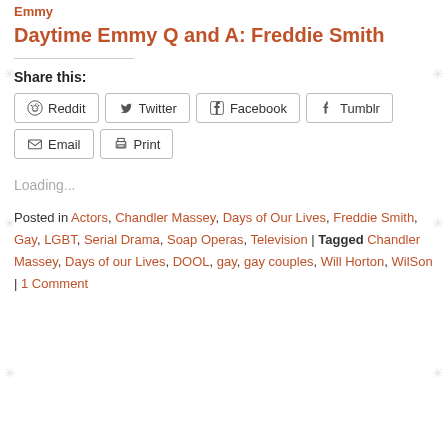Emmy
Daytime Emmy Q and A: Freddie Smith
Share this:
[Figure (other): Social share buttons: Reddit, Twitter, Facebook, Tumblr, Email, Print]
Loading...
Posted in Actors, Chandler Massey, Days of Our Lives, Freddie Smith, Gay, LGBT, Serial Drama, Soap Operas, Television | Tagged Chandler Massey, Days of our Lives, DOOL, gay, gay couples, Will Horton, WilSon | 1 Comment